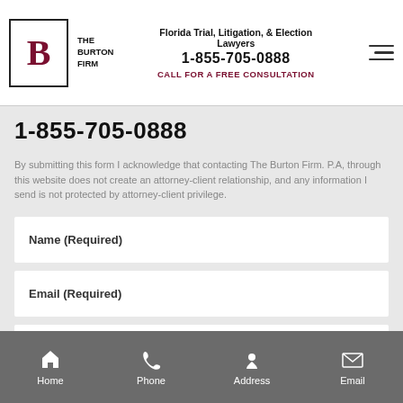The Burton Firm — Florida Trial, Litigation, & Election Lawyers — 1-855-705-0888 — CALL FOR A FREE CONSULTATION
1-855-705-0888
By submitting this form I acknowledge that contacting The Burton Firm. P.A, through this website does not create an attorney-client relationship, and any information I send is not protected by attorney-client privilege.
Name (Required)
Email (Required)
Phone (Required)
Home   Phone   Address   Email